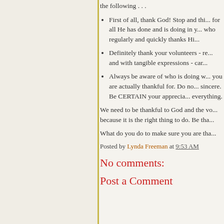the following . . .
First of all, thank God! Stop and think for all He has done and is doing in your life... who regularly and quickly thanks Him...
Definitely thank your volunteers - re... and with tangible expressions - card...
Always be aware of who is doing wh... you are actually thankful for. Do not... sincere. Be CERTAIN your apprecia... everything.
We need to be thankful to God and the vo... because it is the right thing to do. Be tha...
What do you do to make sure you are tha...
Posted by Lynda Freeman at 9:53 AM
No comments:
Post a Comment